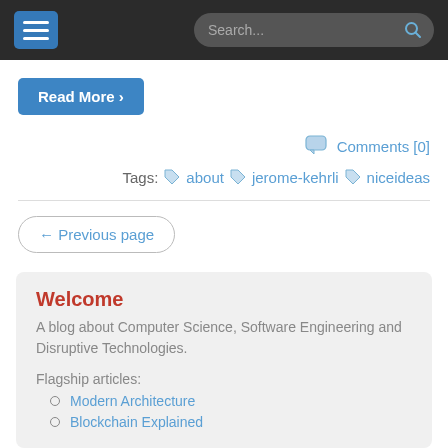Search...
Read More >
Comments [0]
Tags: about jerome-kehrli niceideas
← Previous page
Welcome
A blog about Computer Science, Software Engineering and Disruptive Technologies.
Flagship articles:
Modern Architecture
Blockchain Explained